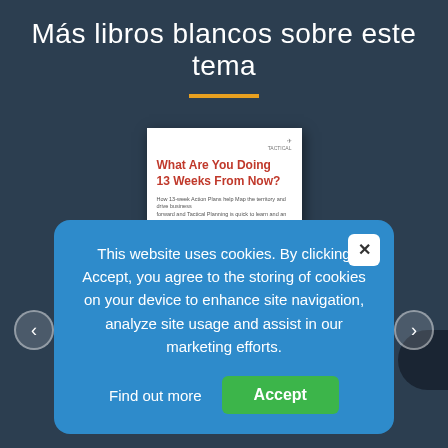Más libros blancos sobre este tema
[Figure (illustration): Book cover showing 'What Are You Doing 13 Weeks From Now?' with a calendar image and red circled date with 'Tactical' written in red marker]
This website uses cookies. By clicking Accept, you agree to the storing of cookies on your device to enhance site navigation, analyze site usage and assist in our marketing efforts.
Find out more
Accept